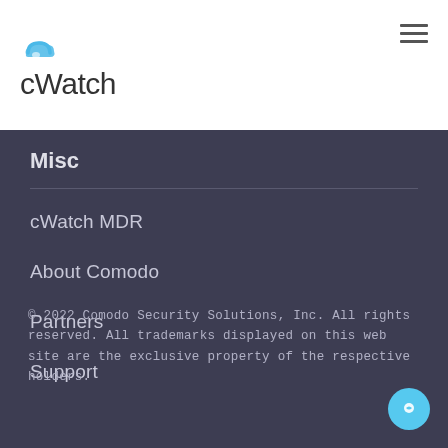[Figure (logo): cWatch logo with cloud icon in blue and text 'cWatch' in dark gray]
Misc
cWatch MDR
About Comodo
Partners
Support
© 2022 Comodo Security Solutions, Inc. All rights reserved. All trademarks displayed on this web site are the exclusive property of the respective holders.